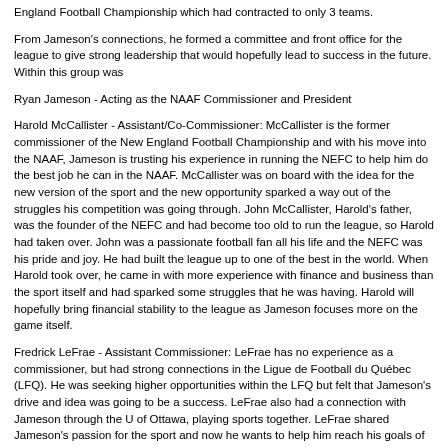England Football Championship which had contracted to only 3 teams.
From Jameson's connections, he formed a committee and front office for the league to give strong leadership that would hopefully lead to success in the future. Within this group was
Ryan Jameson - Acting as the NAAF Commissioner and President
Harold McCallister - Assistant/Co-Commissioner: McCallister is the former commissioner of the New England Football Championship and with his move into the NAAF, Jameson is trusting his experience in running the NEFC to help him do the best job he can in the NAAF. McCallister was on board with the idea for the new version of the sport and the new opportunity sparked a way out of the struggles his competition was going through. John McCallister, Harold's father, was the founder of the NEFC and had become too old to run the league, so Harold had taken over. John was a passionate football fan all his life and the NEFC was his pride and joy. He had built the league up to one of the best in the world. When Harold took over, he came in with more experience with finance and business than the sport itself and had sparked some struggles that he was having. Harold will hopefully bring financial stability to the league as Jameson focuses more on the game itself.
Fredrick LeFrae - Assistant Commissioner: LeFrae has no experience as a commissioner, but had strong connections in the Ligue de Football du Québec (LFQ). He was seeking higher opportunities within the LFQ but felt that Jameson's drive and idea was going to be a success. LeFrae also had a connection with Jameson through the U of Ottawa, playing sports together. LeFrae shared Jameson's passion for the sport and now he wants to help him reach his goals of being the top football league in North